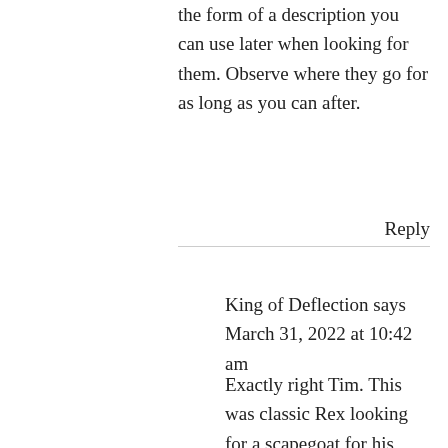the form of a description you can use later when looking for them. Observe where they go for as long as you can after.
Reply
King of Deflection says
March 31, 2022 at 10:42 am
Exactly right Tim. This was classic Rex looking for a scapegoat for his failed policies. He took a million from the county for the shelter and then closed the